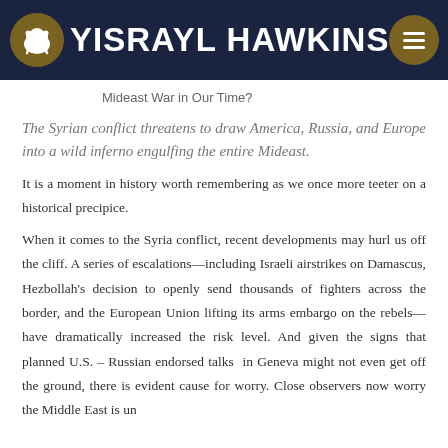YISRAYL HAWKINS
Mideast War in Our Time?
The Syrian conflict threatens to draw America, Russia, and Europe into a wild inferno engulfing the entire Mideast.
It is a moment in history worth remembering as we once more teeter on a historical precipice.
When it comes to the Syria conflict, recent developments may hurl us off the cliff. A series of escalations—including Israeli airstrikes on Damascus, Hezbollah's decision to openly send thousands of fighters across the border, and the European Union lifting its arms embargo on the rebels—have dramatically increased the risk level. And given the signs that planned U.S. – Russian endorsed talks in Geneva might not even get off the ground, there is evident cause for worry. Close observers now worry the Middle East is un